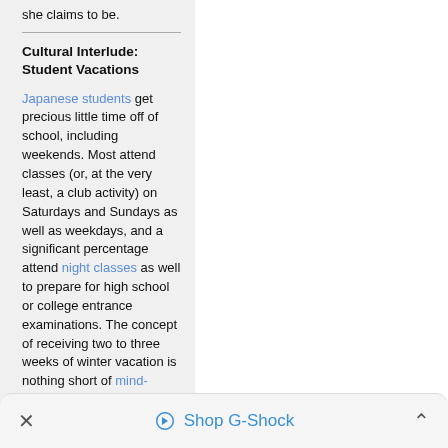she claims to be.
Cultural Interlude: Student Vacations
Japanese students get precious little time off of school, including weekends. Most attend classes (or, at the very least, a club activity) on Saturdays and Sundays as well as weekdays, and a significant percentage attend night classes as well to prepare for high school or college entrance examinations. The concept of receiving two to three weeks of winter vacation is nothing short of mind-blowing to the average student, most of whom are
✕  Shop G-Shock  ∧